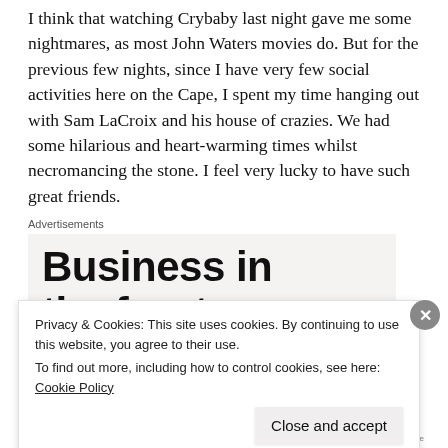I think that watching Crybaby last night gave me some nightmares, as most John Waters movies do. But for the previous few nights, since I have very few social activities here on the Cape, I spent my time hanging out with Sam LaCroix and his house of crazies. We had some hilarious and heart-warming times whilst necromancing the stone. I feel very lucky to have such great friends.
[Figure (other): Advertisement box with large bold text reading 'Business in the front...' on a light pinkish-grey background, labeled 'Advertisements' above]
Privacy & Cookies: This site uses cookies. By continuing to use this website, you agree to their use.
To find out more, including how to control cookies, see here: Cookie Policy
Close and accept